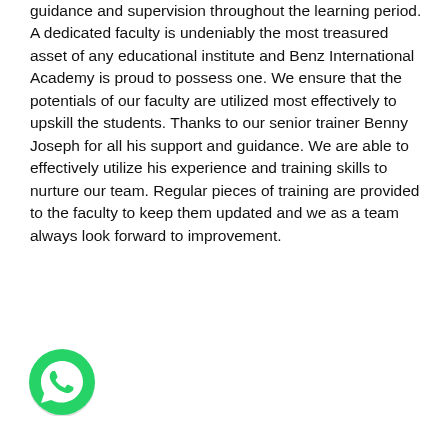guidance and supervision throughout the learning period. A dedicated faculty is undeniably the most treasured asset of any educational institute and Benz International Academy is proud to possess one. We ensure that the potentials of our faculty are utilized most effectively to upskill the students. Thanks to our senior trainer Benny Joseph for all his support and guidance. We are able to effectively utilize his experience and training skills to nurture our team. Regular pieces of training are provided to the faculty to keep them updated and we as a team always look forward to improvement.
[Figure (logo): WhatsApp logo icon — green circle with white phone/chat handset symbol]